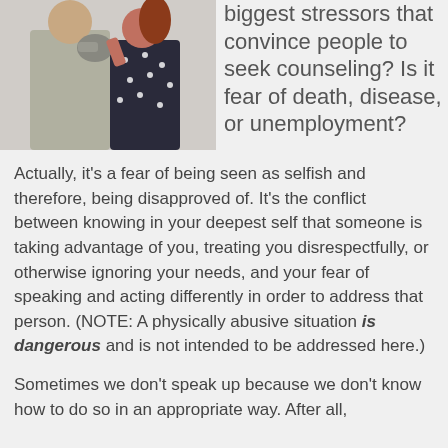[Figure (photo): A woman in a polka dot dress holds up boxing gloves in front of a man in a gray jacket, playfully boxing with him. Studio photo.]
biggest stressors that convince people to seek counseling? Is it fear of death, disease, or unemployment?
Actually, it's a fear of being seen as selfish and therefore, being disapproved of. It's the conflict between knowing in your deepest self that someone is taking advantage of you, treating you disrespectfully, or otherwise ignoring your needs, and your fear of speaking and acting differently in order to address that person. (NOTE: A physically abusive situation is dangerous and is not intended to be addressed here.)
Sometimes we don't speak up because we don't know how to do so in an appropriate way. After all,